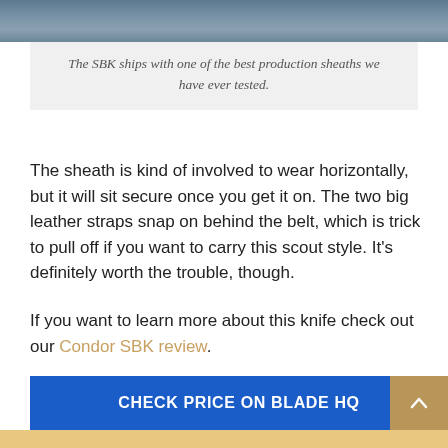[Figure (photo): Top portion of a photo showing jeans/denim with a belt area, cropped]
The SBK ships with one of the best production sheaths we have ever tested.
The sheath is kind of involved to wear horizontally, but it will sit secure once you get it on. The two big leather straps snap on behind the belt, which is trick to pull off if you want to carry this scout style. It’s definitely worth the trouble, though.
If you want to learn more about this knife check out our Condor SBK review.